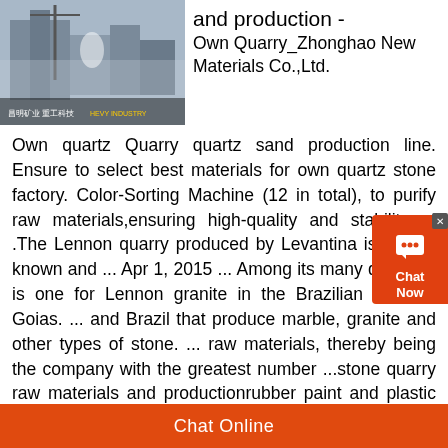[Figure (photo): Industrial quarry or stone processing facility with machinery, Chinese text overlay at bottom]
and production - Own Quarry_Zhonghao New Materials Co.,Ltd.
Own quartz Quarry quartz sand production line. Ensure to select best materials for own quartz stone factory. Color-Sorting Machine (12 in total), to purify raw materials,ensuring high-quality and stability of .The Lennon quarry produced by Levantina is a well-known and ... Apr 1, 2015 ... Among its many quarries, is one for Lennon granite in the Brazilian state of Goias. ... and Brazil that produce marble, granite and other types of stone. ... raw materials, thereby being the company with the greatest number ...stone quarry raw materials and productionrubber paint and plastic production) and also granite stone that is the main raw materials in aggregate production that is widely used
Chat Online